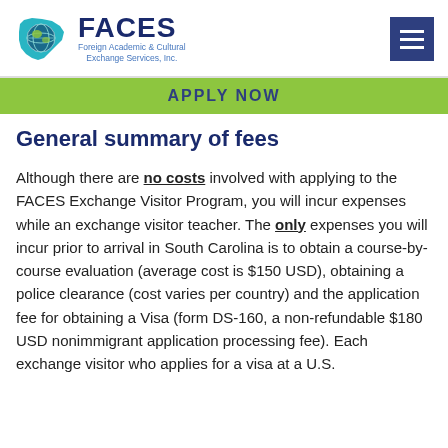[Figure (logo): FACES logo with South Carolina state shape containing globe, text: FACES Foreign Academic & Cultural Exchange Services, Inc.]
APPLY NOW
General summary of fees
Although there are no costs involved with applying to the FACES Exchange Visitor Program, you will incur expenses while an exchange visitor teacher. The only expenses you will incur prior to arrival in South Carolina is to obtain a course-by-course evaluation (average cost is $150 USD), obtaining a police clearance (cost varies per country) and the application fee for obtaining a Visa (form DS-160, a non-refundable $180 USD nonimmigrant application processing fee). Each exchange visitor who applies for a visa at a U.S.